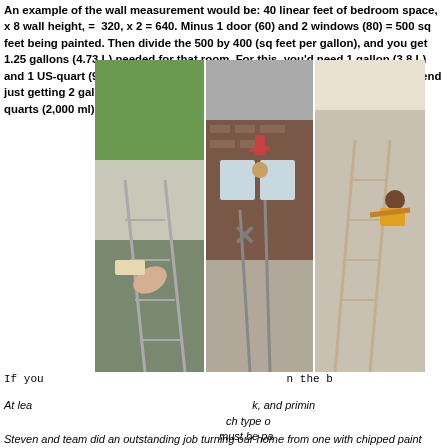An example of the wall measurement would be: 40 linear feet of bedroom space, x 8 wall height, = 320, x 2 = 640. Minus 1 door (60) and 2 windows (80) = 500 sq feet being painted. Then divide the 500 by 400 (sq feet per gallon), and you get 1.25 gallons (4.73 L) needed for that room. For this, you'd need 1 gallon (3.8 L) and 1 US-quart (950 ml). If the amount it comes out to is over 1.3, we recommend just getting 2 gallons (7.6 L) so that you have leftover if needed, since 2 US quarts (2,000 ml) costs essentially the same as a gallon in most stores.
[Figure (photo): Three photos side by side showing people in comical ladder-related situations near buildings during painting/exterior work]
If you need to repaint the exterior, then the best...
At least prime the surfaces prior to doing any topcoat work, and priming is especially important for exterior painting. Each type of surface (wood, masonry, siding, metal, etc.) must be painted with the appropriate primer for the surface, and prime coats should be applied before the topcoats, never last. You can also do the work in stages, but it must be decided whether you want to prime the whole area to go over with a topcoat, or prepare sections of the area based on paying a contractor to do each job rather than one overall quote for the work from start to finish. Home Painters Denver CO
Steven and team did an outstanding job turning our home from one with chipped paint from multiple terrible painting